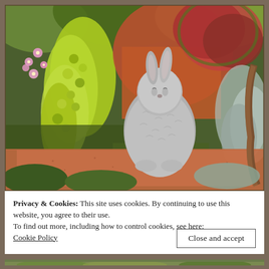[Figure (photo): A stone/concrete rabbit statue sitting on a terra cotta brick ledge, surrounded by lush garden plants including bright green trailing foliage, pink flowers, coleus with red and green leaves, and silvery dusty miller plants. A large terra cotta pot is visible in the background.]
Privacy & Cookies: This site uses cookies. By continuing to use this website, you agree to their use.
To find out more, including how to control cookies, see here:
Cookie Policy
Close and accept